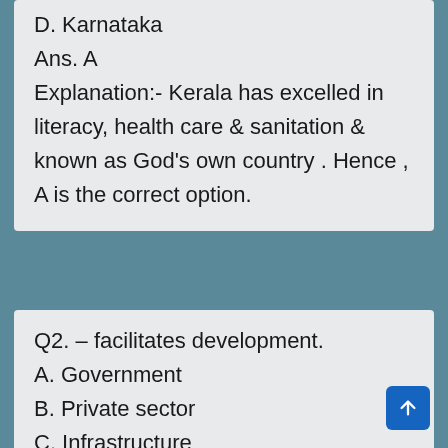D. Karnataka
Ans. A
Explanation:- Kerala has excelled in literacy, health care & sanitation & known as God's own country . Hence , A is the correct option.
Q2. – facilitates development.
A. Government
B. Private sector
C. Infrastructure
D. Industries